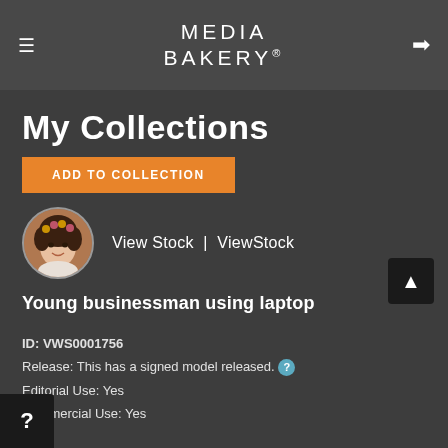MEDIA BAKERY®
My Collections
ADD TO COLLECTION
[Figure (photo): Circular avatar photo of a young girl with a flower crown]
View Stock  |  ViewStock
Young businessman using laptop
ID: VWS0001756
Release: This has a signed model released.
Editorial Use: Yes
Commercial Use: Yes